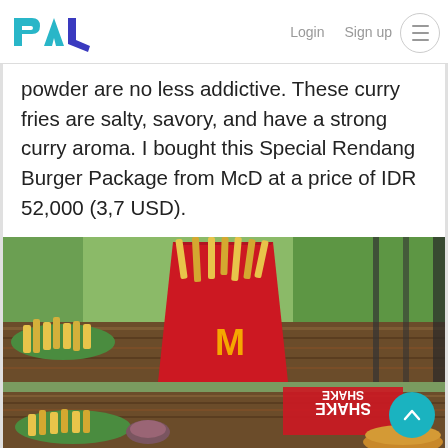PAL  Login  Sign up
powder are no less addictive. These curry fries are salty, savory, and have a strong curry aroma. I bought this Special Rendang Burger Package from McD at a price of IDR 52,000 (3,7 USD).
[Figure (photo): Photo of McDonald's curry fries in a red McDonald's carton box on a wooden table, with green grass visible in the background. Below is a second partial photo showing shake shake fries packaging and food on a green plate.]